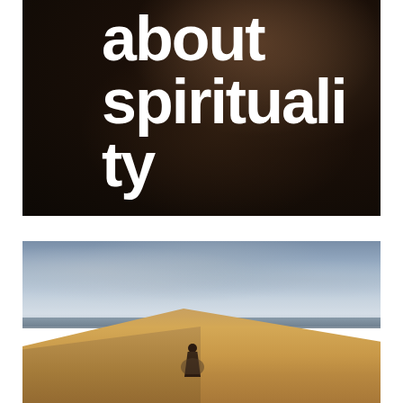[Figure (photo): Dark, moody close-up photo (likely of a person's hands or figure against a dark background) with large bold white text overlay reading 'about spirituality']
[Figure (photo): Landscape photo of a desert scene with sand dunes, a calm sea or lake in the middle ground, and a dramatic cloudy sky. A lone figure stands in the lower center of the image looking toward the dunes.]